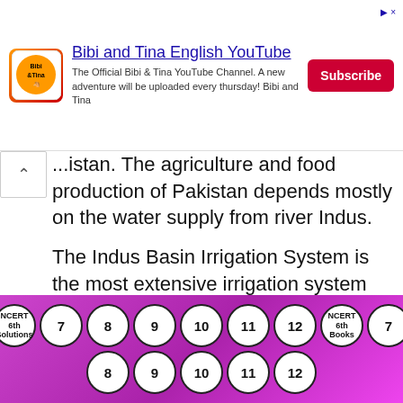[Figure (screenshot): Advertisement banner for Bibi and Tina English YouTube channel with logo, description text, and Subscribe button]
...istan. The agriculture and food production of Pakistan depends mostly on the water supply from river Indus.
The Indus Basin Irrigation System is the most extensive irrigation system ever constructed in the world. This Irrigation system benefits many farmers in Pakistan for agriculture. The Indus River also acts as a medium of transportation for many people.
The Mangla dam built on the river Jhelum
[Figure (infographic): Bottom navigation bar with purple gradient background containing numbered circles (NCERT 6th Solutions, 7, 8, 9, 10, 11, 12, NCERT 6th Books, 7 on top row; 8, 9, 10, 11, 12 on bottom row)]